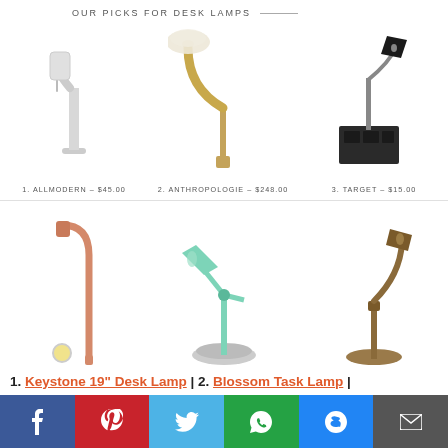OUR PICKS FOR DESK LAMPS
[Figure (photo): Six desk lamp product photos arranged in a 3x2 grid: 1. White modern desk lamp (AllModern), 2. Gold gooseneck with glass shade (Anthropologie), 3. Black cone lamp with organizer base (Target), 4. Pink/copper minimalist lamp (Urban Outfitters), 5. Mint green adjustable task lamp (Wayfair), 6. Antique brass desk lamp (World Market)]
1. ALLMODERN – $45.00
2. ANTHROPOLOGIE – $248.00
3. TARGET – $15.00
4. URBAN OUTFITTERS – $49.00
5. WAYFAIR – $43.99
6. WORLD MARKET – $89.99
1. Keystone 19" Desk Lamp | 2. Blossom Task Lamp |